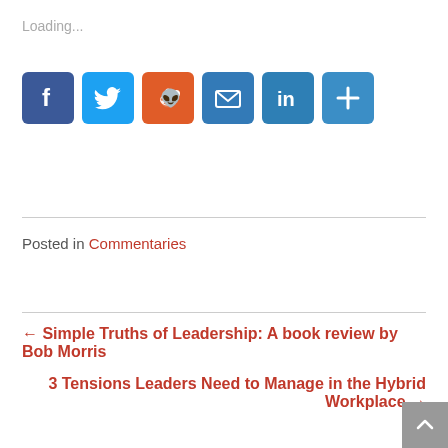Loading...
[Figure (infographic): Social share buttons: Facebook (blue), Twitter (light blue), Reddit (orange), Email (blue), LinkedIn (teal blue), More/Plus (blue)]
Posted in Commentaries
← Simple Truths of Leadership: A book review by Bob Morris
3 Tensions Leaders Need to Manage in the Hybrid Workplace →